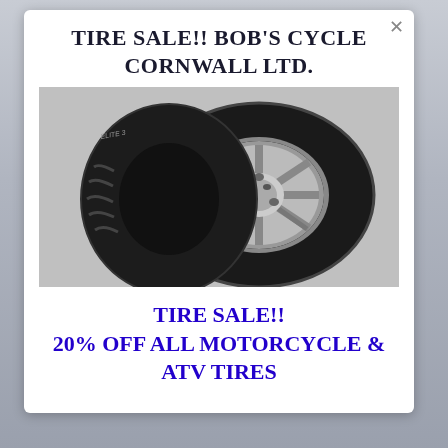TIRE SALE!! BOB'S CYCLE CORNWALL LTD.
[Figure (photo): Two motorcycle tires (Dunlop Elite 3) shown at an angle on a white background — a front tire standing upright and a rear tire mounted on a chrome wheel]
TIRE SALE!!
20% OFF ALL MOTORCYCLE & ATV TIRES